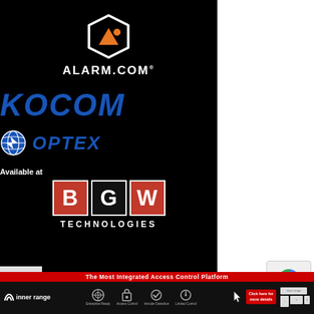[Figure (logo): Alarm.com logo — white hexagon outline with orange mountain/person icon, ALARM.COM text in white below]
[Figure (logo): KOCOM logo in large bold blue italic text]
[Figure (logo): OPTEX logo with blue circular globe icon and bold blue italic OPTEX text]
Available at
[Figure (logo): BGW Technologies logo — three boxes with letters B, G, W in red/black/red with white border, TECHNOLOGIES text below]
[Figure (logo): Inner Range banner — The Most Integrated Access Control Platform with icons for Enterprise Ready, Access Control, Intruder Detection, Limited Control]
[Figure (other): reCAPTCHA widget in lower right corner]